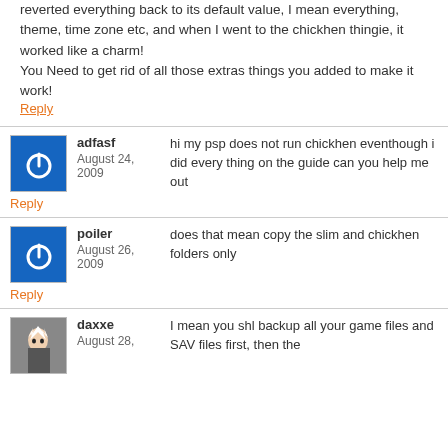reverted everything back to its default value, I mean everything, theme, time zone etc, and when I went to the chickhen thingie, it worked like a charm!
You Need to get rid of all those extras things you added to make it work!
Reply
adfasf
August 24, 2009
hi my psp does not run chickhen eventhough i did every thing on the guide can you help me out
Reply
poiler
August 26, 2009
does that mean copy the slim and chickhen folders only
Reply
daxxe
August 28,
I mean you shl backup all your game files and SAV files first, then the